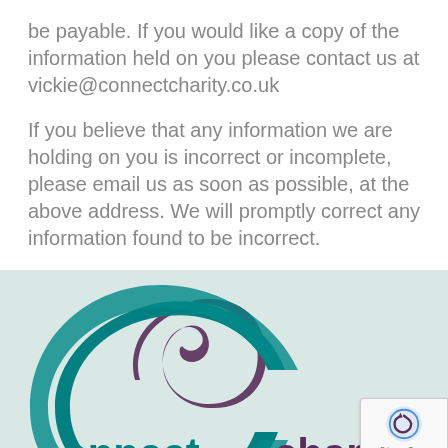be payable. If you would like a copy of the information held on you please contact us at vickie@connectcharity.co.uk
If you believe that any information we are holding on you is incorrect or incomplete, please email us as soon as possible, at the above address. We will promptly correct any information found to be incorrect.
[Figure (logo): Connect Charity logo with teal and dark purple interlocking C shapes, text reading 'Connectcharity' and 'CSR' partially visible at bottom]